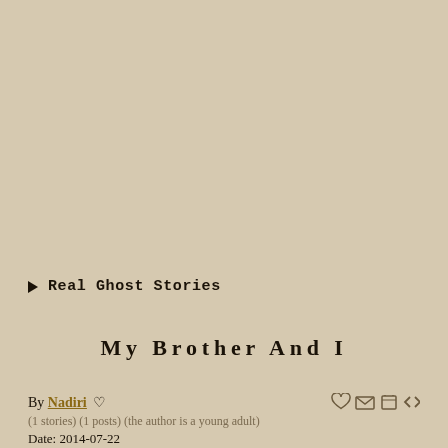Real Ghost Stories
My Brother And I
By Nadiri ♡
(1 stories) (1 posts) (the author is a young adult)
Date: 2014-07-22
Country: Netherlands